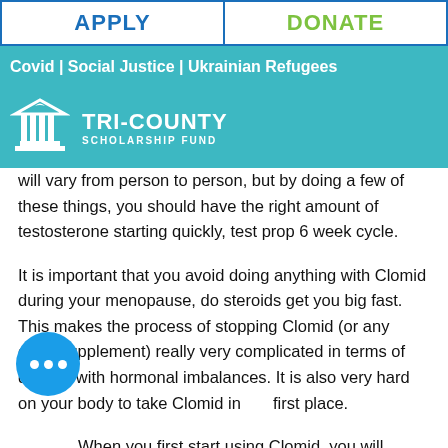APPLY | DONATE
Covid | Social Justice | Ukrainian Refugees
[Figure (logo): Tri-County Scholarship Fund logo with white pillared building icon and text TRI-COUNTY SCHOLARSHIP FUND on teal background, with hamburger menu icon on the right]
will vary from person to person, but by doing a few of these things, you should have the right amount of testosterone starting quickly, test prop 6 week cycle.
It is important that you avoid doing anything with Clomid during your menopause, do steroids get you big fast. This makes the process of stopping Clomid (or any other supplement) really very complicated in terms of dealing with hormonal imbalances. It is also very hard on your body to take Clomid in the first place.
When you first start using Clomid, you will most likely start seeing some benefits. A few